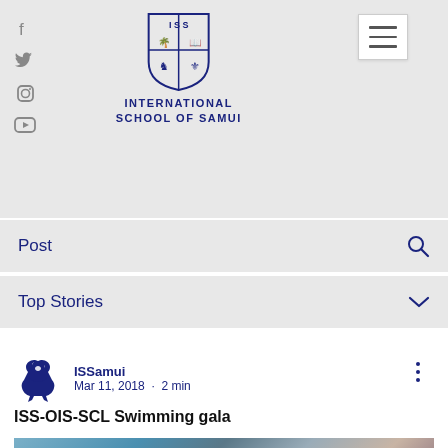International School of Samui — navigation header with social icons, logo, hamburger menu, Post search bar, Top Stories dropdown
[Figure (logo): International School of Samui crest/shield logo in dark navy blue]
INTERNATIONAL
SCHOOL OF SAMUI
Post
Top Stories
ISSamui
Mar 11, 2018  ·  2 min
ISS-OIS-SCL Swimming gala
[Figure (photo): Blurred/partially visible photo of a swimming gala event, showing people in a pool area with colorful attire]